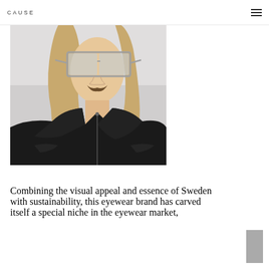CAUSE
[Figure (photo): Close-up photo of a young man with long blonde hair and a mustache, wearing large square silver-framed sunglasses and a black leather jacket with a high collar and zipper.]
Combining the visual appeal and essence of Sweden with sustainability, this eyewear brand has carved itself a special niche in the eyewear market,